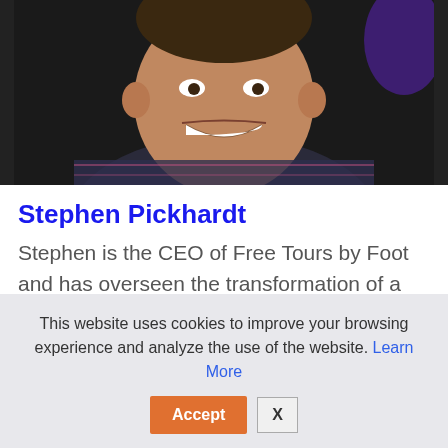[Figure (photo): Headshot photo of Stephen Pickhardt, a smiling man wearing a dark plaid shirt against a dark background with purple lighting.]
Stephen Pickhardt
Stephen is the CEO of Free Tours by Foot and has overseen the transformation of a local walking tour
This website uses cookies to improve your browsing experience and analyze the use of the website. Learn More
Accept  X